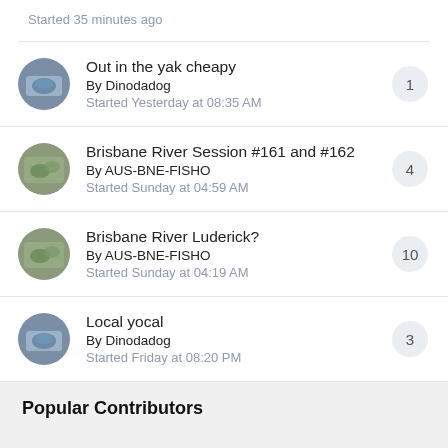Started 35 minutes ago
Out in the yak cheapy
By Dinodadog
Started Yesterday at 08:35 AM
Brisbane River Session #161 and #162
By AUS-BNE-FISHO
Started Sunday at 04:59 AM
Brisbane River Luderick?
By AUS-BNE-FISHO
Started Sunday at 04:19 AM
Local yocal
By Dinodadog
Started Friday at 08:20 PM
Popular Contributors